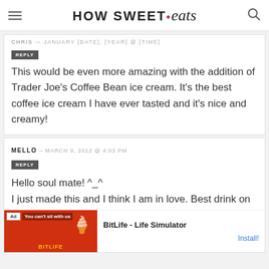HOW SWEET • eats
CHRIS — JANUARY [date], [year] @ [time]
REPLY
This would be even more amazing with the addition of Trader Joe's Coffee Bean ice cream. It's the best coffee ice cream I have ever tasted and it's nice and creamy!
MELLO — MARCH 9, 2012 @ 4:03 PM
REPLY
Hello soul mate! ^_^
I just made this and I think I am in love. Best drink on a hot, humid summer's day.
[Figure (screenshot): Advertisement banner for BitLife - Life Simulator app with red background showing 'You can't sit with us' text and Install button]